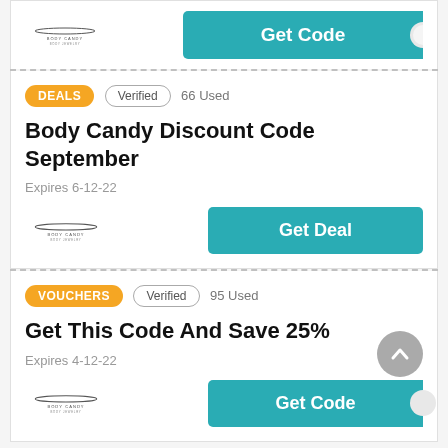[Figure (screenshot): Body Candy logo top card with Get Code button]
DEALS   Verified   66 Used
Body Candy Discount Code September
Expires 6-12-22
[Figure (logo): Body Candy Body Jewelry logo]
Get Deal
VOUCHERS   Verified   95 Used
Get This Code And Save 25%
Expires 4-12-22
[Figure (logo): Body Candy Body Jewelry logo]
Get Code